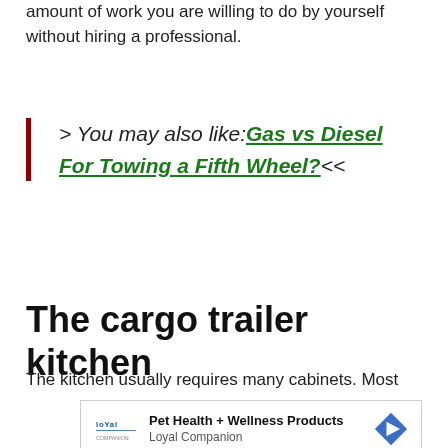amount of work you are willing to do by yourself without hiring a professional.
> You may also like: Gas vs Diesel For Towing a Fifth Wheel?<<
The cargo trailer kitchen
The kitchen usually requires many cabinets. Most
[Figure (other): Advertisement for Loyal Companion Pet Health + Wellness Products with logo and navigation arrow icon]